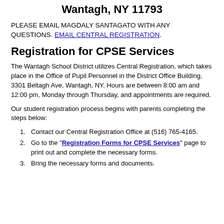Wantagh Public Schools
Wantagh, NY 11793
PLEASE EMAIL MAGDALY SANTAGATO WITH ANY QUESTIONS. EMAIL CENTRAL REGISTRATION.
Registration for CPSE Services
The Wantagh School District utilizes Central Registration, which takes place in the Office of Pupil Personnel in the District Office Building, 3301 Beltagh Ave, Wantagh, NY. Hours are between 8:00 am and 12:00 pm, Monday through Thursday, and appointments are required.
Our student registration process begins with parents completing the steps below:
1. Contact our Central Registration Office at (516) 765-4165.
2. Go to the "Registration Forms for CPSE Services" page to print out and complete the necessary forms.
3. (partially visible)